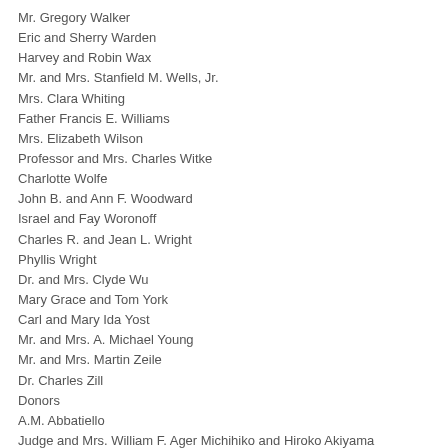Mr. Gregory Walker
Eric and Sherry Warden
Harvey and Robin Wax
Mr. and Mrs. Stanfield M. Wells, Jr.
Mrs. Clara Whiting
Father Francis E. Williams
Mrs. Elizabeth Wilson
Professor and Mrs. Charles Witke
Charlotte Wolfe
John B. and Ann F. Woodward
Israel and Fay Woronoff
Charles R. and Jean L. Wright
Phyllis Wright
Dr. and Mrs. Clyde Wu
Mary Grace and Tom York
Carl and Mary Ida Yost
Mr. and Mrs. A. Michael Young
Mr. and Mrs. Martin Zeile
Dr. Charles Zill
Donors
A.M. Abbatiello
Judge and Mrs. William F. Ager Michihiko and Hiroko Akiyama
Mr. and Mrs. Gordon E. Allardyce Phyllis and Harold Allen Mr.